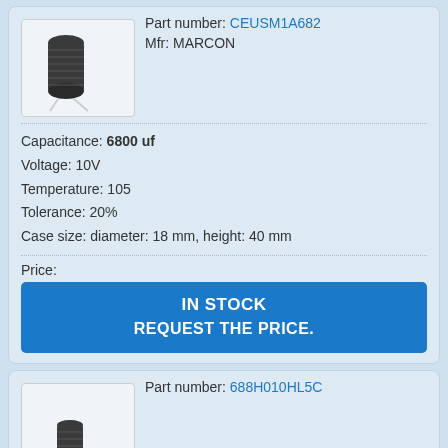[Figure (photo): Electrolytic capacitor component photo - large cylindrical capacitor with leads]
Part number: CEUSM1A682
Mfr: MARCON
Capacitance: 6800 uf
Voltage: 10V
Temperature: 105
Tolerance: 20%
Case size: diameter: 18 mm, height: 40 mm
Price:
IN STOCK
REQUEST THE PRICE.
[Figure (photo): Electrolytic capacitor component photo - smaller cylindrical capacitor with leads]
Part number: 688H010HL5C